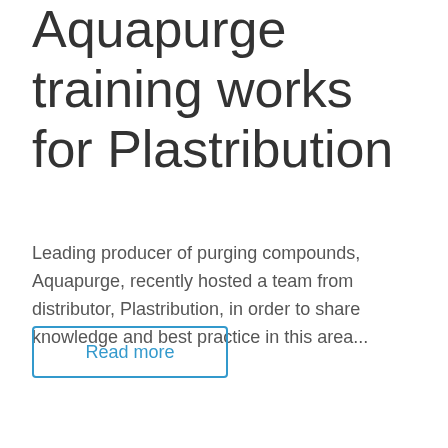Aquapurge training works for Plastribution
Leading producer of purging compounds, Aquapurge, recently hosted a team from distributor, Plastribution, in order to share knowledge and best practice in this area...
Read more